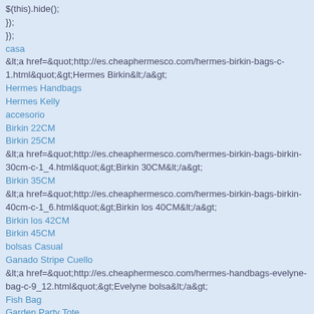$(this).hide();
});
});
casa
&lt;a href=&quot;http://es.cheaphermes co.com/hermes-birkin-bags-c-1.html&quot;&gt;Hermes Birkin&lt;/a&gt;
Hermes Handbags
Hermes Kelly
accesorio
Birkin 22CM
Birkin 25CM
&lt;a href=&quot;http://es.cheaphermes co.com/hermes-birkin-bags-birkin-30cm-c-1_4.html&quot;&gt;Birkin 30CM&lt;/a&gt;
Birkin 35CM
&lt;a href=&quot;http://es.cheaphermes co.com/hermes-birkin-bags-birkin-40cm-c-1_6.html&quot;&gt;Birkin los 40CM&lt;/a&gt;
Birkin los 42CM
Birkin 45CM
bolsas Casual
Ganado Stripe Cuello
&lt;a href=&quot;http://es.cheaphermes co.com/hermes-handbags-evelyne-bag-c-9_12.html&quot;&gt;Evelyne bolsa&lt;/a&gt;
Fish Bag
Garden Party Tote
Gypsy Jipsy
Bolsas Lindy
&lt;a href=&quot;http://es.cheaphermes co.com/hermes-handbags-massia-bags-c-9_17.html&quot;&gt;Massia bolsas&lt;/a&gt;
picotin Herpicot
Kelly 22CM
&lt;a href=&quot;http://es.cheaphermes co.com/hermes-kelly-bags...